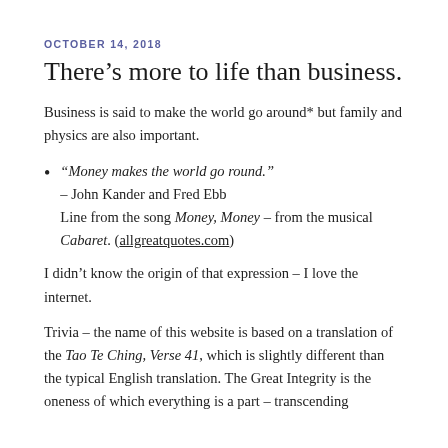OCTOBER 14, 2018
There’s more to life than business.
Business is said to make the world go around* but family and physics are also important.
“Money makes the world go round.”
– John Kander and Fred Ebb
Line from the song Money, Money – from the musical Cabaret. (allgreatquotes.com)
I didn’t know the origin of that expression – I love the internet.
Trivia – the name of this website is based on a translation of the Tao Te Ching, Verse 41, which is slightly different than the typical English translation. The Great Integrity is the oneness of which everything is a part – transcending